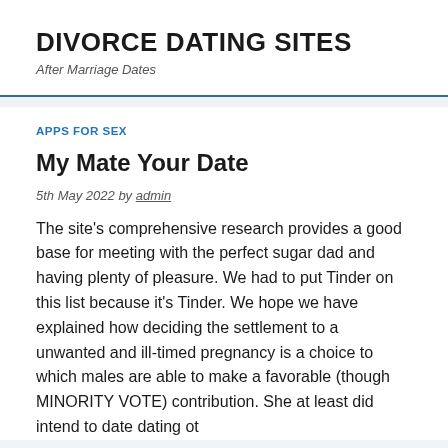DIVORCE DATING SITES
After Marriage Dates
APPS FOR SEX
My Mate Your Date
5th May 2022 by admin
The site's comprehensive research provides a good base for meeting with the perfect sugar dad and having plenty of pleasure. We had to put Tinder on this list because it's Tinder. We hope we have explained how deciding the settlement to a unwanted and ill-timed pregnancy is a choice to which males are able to make a favorable (though MINORITY VOTE) contribution. She at least didintend todate dating ot...